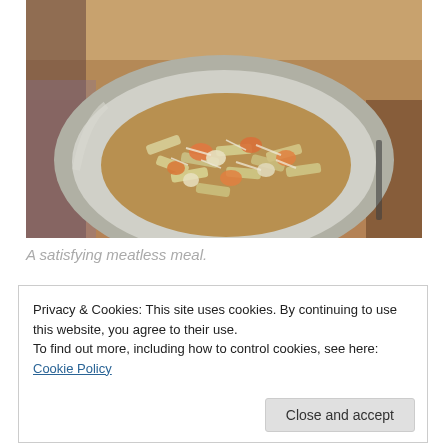[Figure (photo): A bowl of penne pasta with vegetables and cheese on a dining table background.]
A satisfying meatless meal.
Privacy & Cookies: This site uses cookies. By continuing to use this website, you agree to their use.
To find out more, including how to control cookies, see here: Cookie Policy
Close and accept